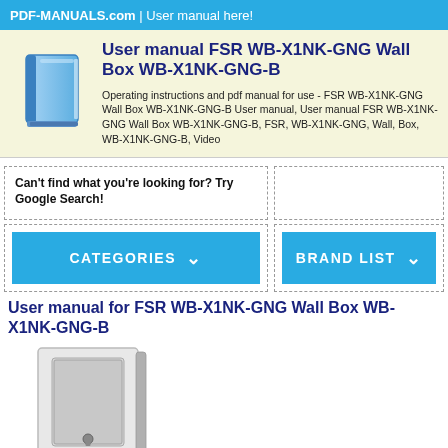PDF-MANUALS.com | User manual here!
User manual FSR WB-X1NK-GNG Wall Box WB-X1NK-GNG-B
Operating instructions and pdf manual for use - FSR WB-X1NK-GNG Wall Box WB-X1NK-GNG-B User manual, User manual FSR WB-X1NK-GNG Wall Box WB-X1NK-GNG-B, FSR, WB-X1NK-GNG, Wall, Box, WB-X1NK-GNG-B, Video
Can't find what you're looking for? Try Google Search!
[Figure (screenshot): Categories dropdown button (blue)]
[Figure (screenshot): Brand List dropdown button (blue)]
User manual for FSR WB-X1NK-GNG Wall Box WB-X1NK-GNG-B
[Figure (photo): Product photo of FSR WB-X1NK-GNG-B wall box with keyhole lock]